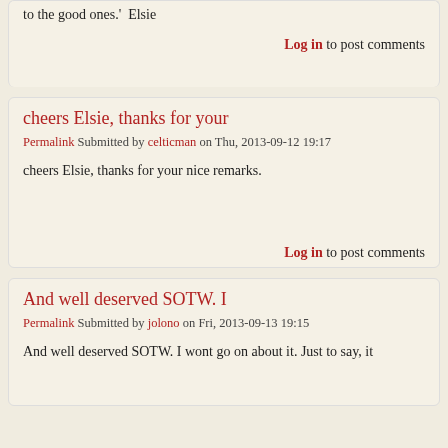to the good ones.'  Elsie
Log in to post comments
cheers Elsie, thanks for your
Permalink Submitted by celticman on Thu, 2013-09-12 19:17
cheers Elsie, thanks for your nice remarks.
Log in to post comments
And well deserved SOTW. I
Permalink Submitted by jolono on Fri, 2013-09-13 19:15
And well deserved SOTW. I wont go on about it. Just to say, it